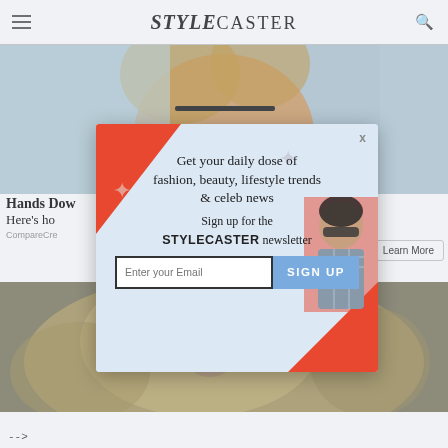STYLECASTER
[Figure (photo): Background photo of woman in light top, partially visible behind modal overlay]
Hands Dow
Here's ho  nd $500.
CompareCre
[Figure (screenshot): StyleCaster newsletter sign-up modal popup with headline: Get your daily dose of fashion, beauty, lifestyle trends & celeb news. Sign up for the STYLECASTER newsletter. Email input field and SIGN UP button.]
[Figure (photo): Close-up photo of a fluffy dog face]
-->